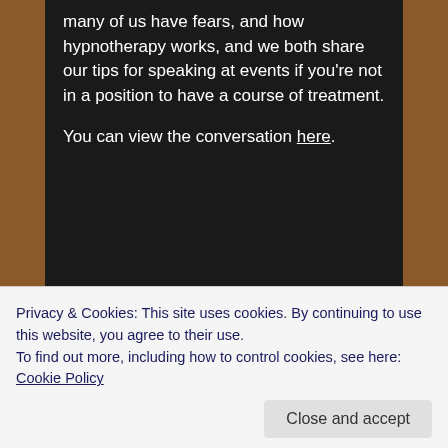many of us have fears, and how hypnotherapy works, and we both share our tips for speaking at events if you're not in a position to have a course of treatment.

You can view the conversation here.
Privacy & Cookies: This site uses cookies. By continuing to use this website, you agree to their use.
To find out more, including how to control cookies, see here: Cookie Policy
Close and accept